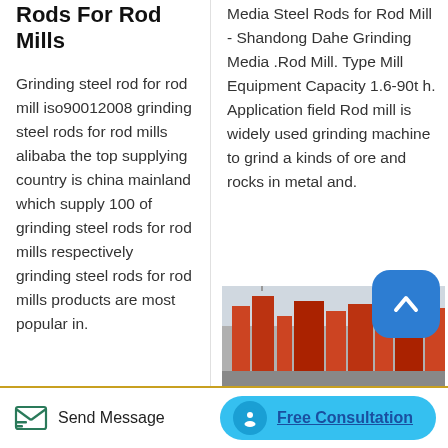Rods For Rod Mills
Grinding steel rod for rod mill iso90012008 grinding steel rods for rod mills alibaba the top supplying country is china mainland which supply 100 of grinding steel rods for rod mills respectively grinding steel rods for rod mills products are most popular in.
Media Steel Rods for Rod Mill - Shandong Dahe Grinding Media .Rod Mill. Type Mill Equipment Capacity 1.6-90t h. Application field Rod mill is widely used grinding machine to grind a kinds of ore and rocks in metal and.
[Figure (photo): Industrial/factory scene with red and orange industrial equipment or buildings]
Send Message
Free Consultation